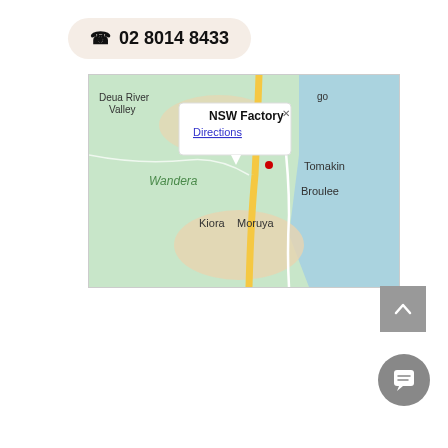📞 02 8014 8433
[Figure (map): Google Maps screenshot showing the NSW south coast region around Moruya, NSW, Australia. Visible place names include: Deua River Valley, Wandera, Kiora, Moruya, Tomakin, Broulee. A yellow highway runs vertically through the map. A popup info window is shown with the title 'NSW Factory' and a 'Directions' link. An X close button is in the top-right of the popup.]
[Figure (other): Back-to-top button: grey square with upward chevron arrow]
[Figure (other): Chat/messaging button: grey circle with speech bubble icon]